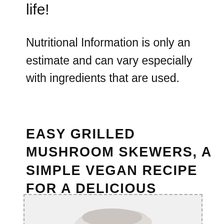life!
Nutritional Information is only an estimate and can vary especially with ingredients that are used.
EASY GRILLED MUSHROOM SKEWERS, A SIMPLE VEGAN RECIPE FOR A DELICIOUS TASTING BARBECUE SIDE DISH. LOW CARB AND MEDITERRANEAN DIET.
[Figure (photo): Photo of grilled mushroom skewers, partially visible at the bottom of the page within a dashed border box]